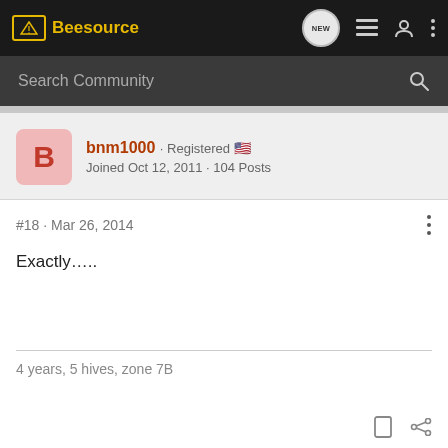Beesource
Search Community
bnm1000 · Registered
Joined Oct 12, 2011 · 104 Posts
#18 · Mar 26, 2014
Exactly…..
4 years, 5 hives, zone 7B